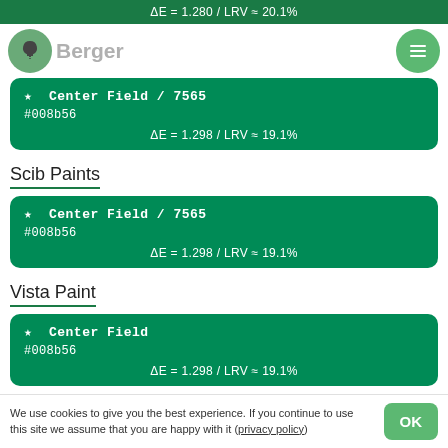ΔE = 1.280 / LRV ≈ 20.1%
Berger
★  Center Field / 7565
#008b56
ΔE = 1.298 / LRV ≈ 19.1%
Scib Paints
★  Center Field / 7565
#008b56
ΔE = 1.298 / LRV ≈ 19.1%
Vista Paint
★  Center Field
#008b56
ΔE = 1.298 / LRV ≈ 19.1%
Nippon Paint
We use cookies to give you the best experience. If you continue to use this site we assume that you are happy with it (privacy policy)